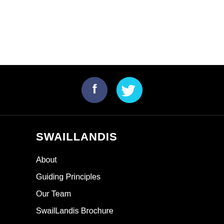[Figure (other): Social media icons bar on black background: Facebook icon (dark blue circle with white f) and Twitter icon (cyan circle with white bird)]
SWAILLANDIS
About
Guiding Principles
Our Team
SwailLandis Brochure